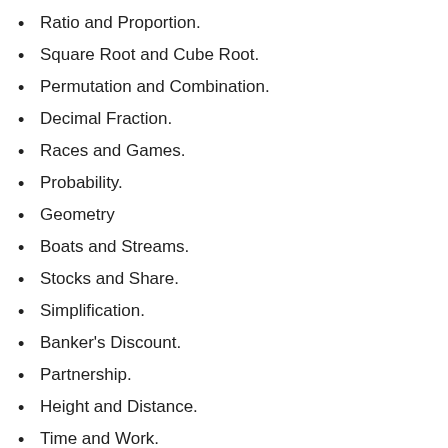Ratio and Proportion.
Square Root and Cube Root.
Permutation and Combination.
Decimal Fraction.
Races and Games.
Probability.
Geometry
Boats and Streams.
Stocks and Share.
Simplification.
Banker's Discount.
Partnership.
Height and Distance.
Time and Work.